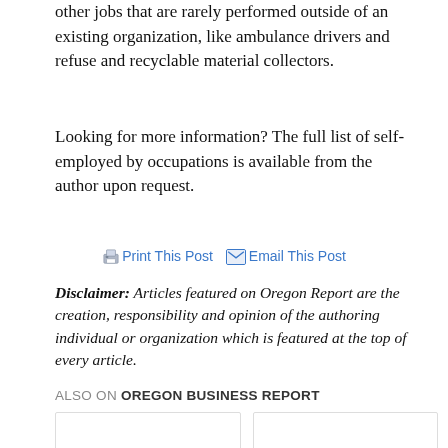other jobs that are rarely performed outside of an existing organization, like ambulance drivers and refuse and recyclable material collectors.
Looking for more information? The full list of self-employed by occupations is available from the author upon request.
Print This Post  Email This Post
Disclaimer: Articles featured on Oregon Report are the creation, responsibility and opinion of the authoring individual or organization which is featured at the top of every article.
ALSO ON OREGON BUSINESS REPORT